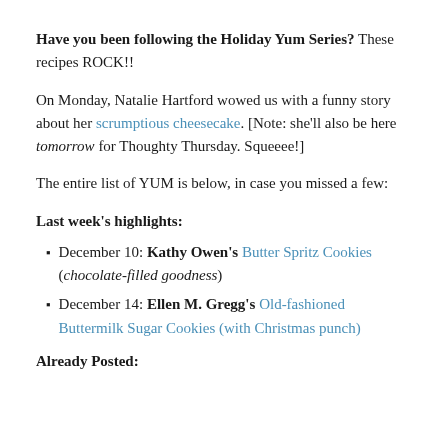Have you been following the Holiday Yum Series? These recipes ROCK!!
On Monday, Natalie Hartford wowed us with a funny story about her scrumptious cheesecake. [Note: she'll also be here tomorrow for Thoughty Thursday. Squeeee!]
The entire list of YUM is below, in case you missed a few:
Last week's highlights:
December 10: Kathy Owen's Butter Spritz Cookies (chocolate-filled goodness)
December 14: Ellen M. Gregg's Old-fashioned Buttermilk Sugar Cookies (with Christmas punch)
Already Posted: